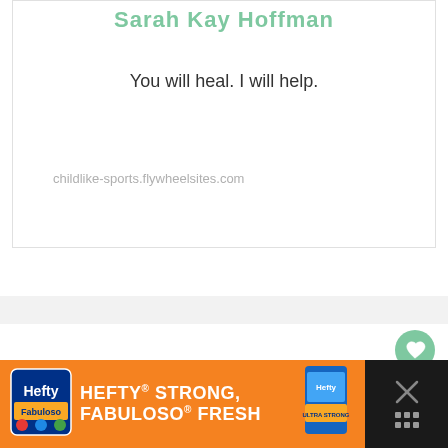Sarah Kay Hoffman
You will heal. I will help.
childlike-sports.flywheelsites.com
[Figure (screenshot): Gray divider bar separating the card from the content area below]
[Figure (infographic): Floating action buttons: heart/like button (green circle with heart icon), count '1', and share button]
[Figure (infographic): Ad banner at bottom: Hefty brand orange advertisement reading 'HEFTY STRONG, FABULOSO FRESH' with product image, and a dark close button on the right]